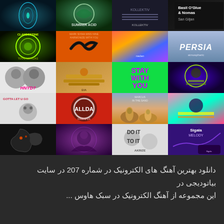[Figure (illustration): A 4x5 grid of music album covers including electronic music albums. Visible text includes: Basil O'Glue & Nomas / San Giljan, CLANDESTINE, PERSIA, STAY WITH YOU, GOTTA LET U GO, Sigala MELODY, DO IT TO IT, AKRIZE, and various artist imagery including portraits, abstract art, animals (crow, camel), and colorful electronic music artwork.]
دانلود بهترین آهنگ های الکترونیک در شماره 207 در سایت بیاتودیجی در این مجموعه از آهنگ الکترونیک در سبک هاوس...